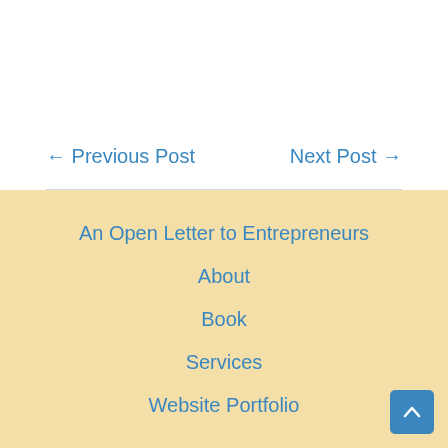← Previous Post
Next Post →
An Open Letter to Entrepreneurs
About
Book
Services
Website Portfolio